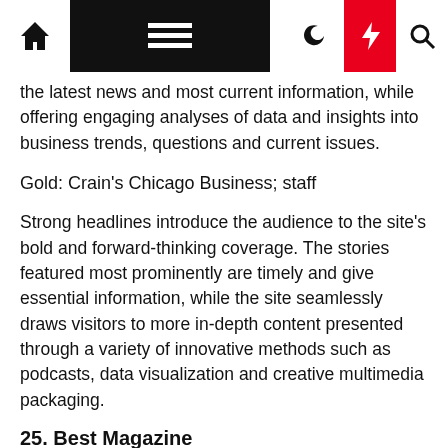[Navigation bar with home, menu, moon, bolt, and search icons]
the latest news and most current information, while offering engaging analyses of data and insights into business trends, questions and current issues.
Gold: Crain's Chicago Business; staff
Strong headlines introduce the audience to the site's bold and forward-thinking coverage. The stories featured most prominently are timely and give essential information, while the site seamlessly draws visitors to more in-depth content presented through a variety of innovative methods such as podcasts, data visualization and creative multimedia packaging.
25. Best Magazine
Bronze: Hawaii Business; Steve Petranik, Cynthia